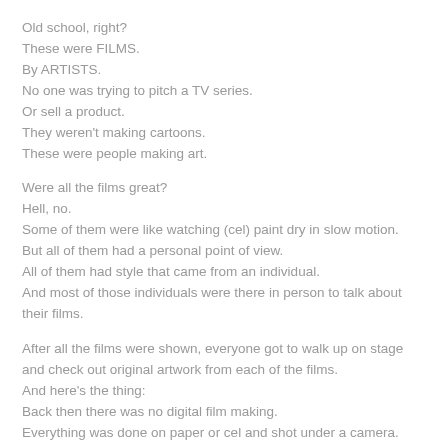Old school, right?
These were FILMS.
By ARTISTS.
No one was trying to pitch a TV series.
Or sell a product.
They weren't making cartoons.
These were people making art.
Were all the films great?
Hell, no.
Some of them were like watching (cel) paint dry in slow motion.
But all of them had a personal point of view.
All of them had style that came from an individual.
And most of those individuals were there in person to talk about their films.
After all the films were shown, everyone got to walk up on stage and check out original artwork from each of the films.
And here's the thing:
Back then there was no digital film making.
Everything was done on paper or cel and shot under a camera.
(with exceptions for techniques like stop motion,
oil on glass, sand animation, etc etc)